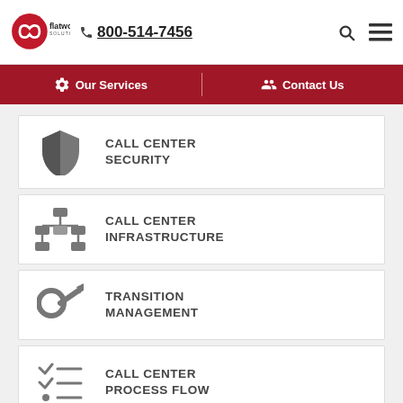[Figure (logo): Flatworld Solutions logo with infinity symbol in red circle and phone number 800-514-7456]
Our Services | Contact Us
CALL CENTER SECURITY
CALL CENTER INFRASTRUCTURE
TRANSITION MANAGEMENT
CALL CENTER PROCESS FLOW
CALL CENTER